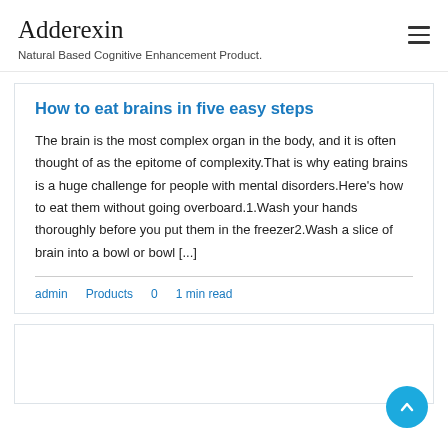Adderexin
Natural Based Cognitive Enhancement Product.
How to eat brains in five easy steps
The brain is the most complex organ in the body, and it is often thought of as the epitome of complexity.That is why eating brains is a huge challenge for people with mental disorders.Here’s how to eat them without going overboard.1.Wash your hands thoroughly before you put them in the freezer2.Wash a slice of brain into a bowl or bowl [...]
admin   Products   0   1 min read